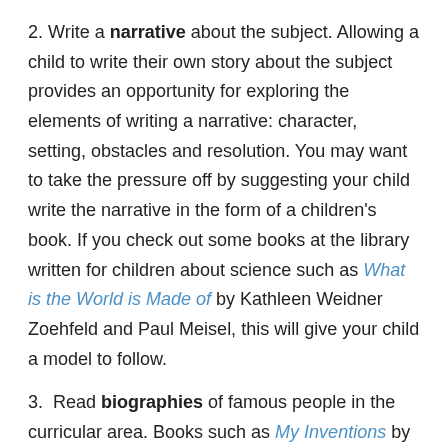2. Write a narrative about the subject. Allowing a child to write their own story about the subject provides an opportunity for exploring the elements of writing a narrative: character, setting, obstacles and resolution. You may want to take the pressure off by suggesting your child write the narrative in the form of a children's book. If you check out some books at the library written for children about science such as What is the World is Made of by Kathleen Weidner Zoehfeld and Paul Meisel, this will give your child a model to follow.
3. Read biographies of famous people in the curricular area. Books such as My Inventions by Nikola Tessla provides students with an opportunity through autobiography to see inside an inventor's thought processes, failures and successes.